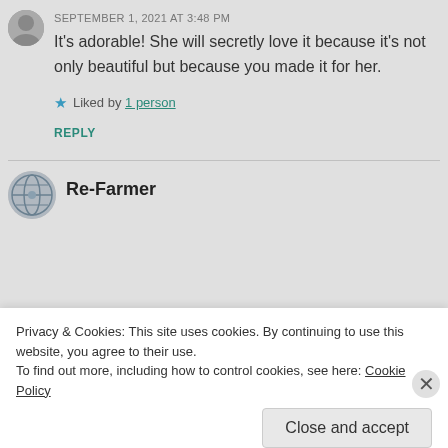[Figure (photo): Partial circular avatar photo of a person, top-left corner]
SEPTEMBER 1, 2021 AT 3:48 PM
It’s adorable! She will secretly love it because it’s not only beautiful but because you made it for her.
★ Liked by 1 person
REPLY
[Figure (photo): Circular avatar with globe/earth-like image]
Re-Farmer
Privacy & Cookies: This site uses cookies. By continuing to use this website, you agree to their use.
To find out more, including how to control cookies, see here: Cookie Policy
Close and accept